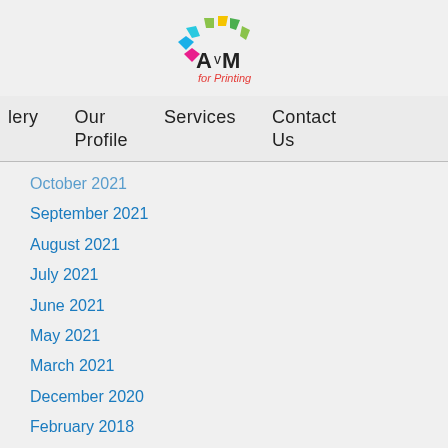[Figure (logo): AvM for Printing logo with colorful semicircle of shapes above stylized text]
lery   Our Profile   Services   Contact Us
October 2021
September 2021
August 2021
July 2021
June 2021
May 2021
March 2021
December 2020
February 2018